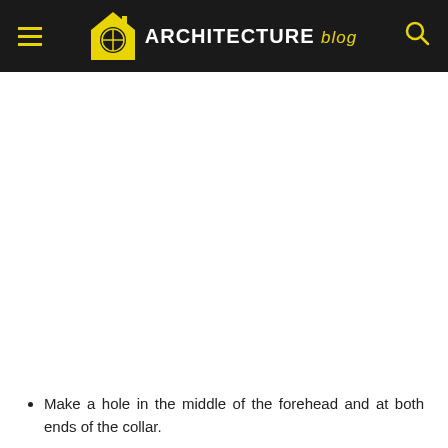ARCHITECTURE blog
Make a hole in the middle of the forehead and at both ends of the collar.